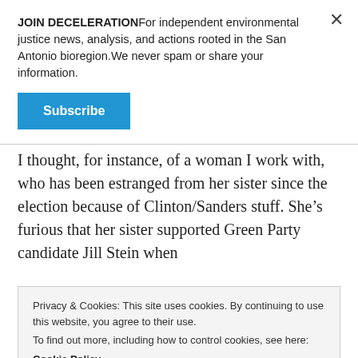JOIN DECELERATIONFor independent environmental justice news, analysis, and actions rooted in the San Antonio bioregion.We never spam or share your information.
Subscribe
I thought, for instance, of a woman I work with, who has been estranged from her sister since the election because of Clinton/Sanders stuff. She’s furious that her sister supported Green Party candidate Jill Stein when
Privacy & Cookies: This site uses cookies. By continuing to use this website, you agree to their use.
To find out more, including how to control cookies, see here:
Cookie Policy
Close and accept
also have been nourished at the largest